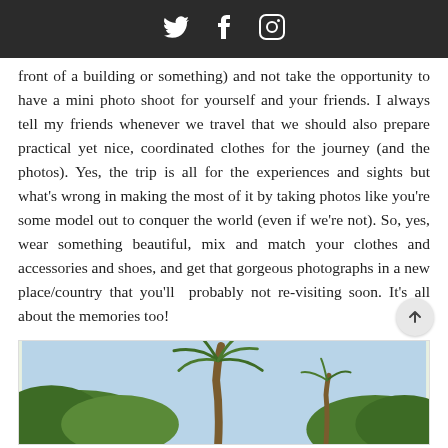[Twitter] [Facebook] [Instagram]
front of a building or something) and not take the opportunity to have a mini photo shoot for yourself and your friends. I always tell my friends whenever we travel that we should also prepare practical yet nice, coordinated clothes for the journey (and the photos). Yes, the trip is all for the experiences and sights but what's wrong in making the most of it by taking photos like you're some model out to conquer the world (even if we're not). So, yes, wear something beautiful, mix and match your clothes and accessories and shoes, and get that gorgeous photographs in a new place/country that you'll probably not re-visiting soon. It's all about the memories too!
[Figure (photo): A palm tree surrounded by green tropical foliage against a light blue sky]